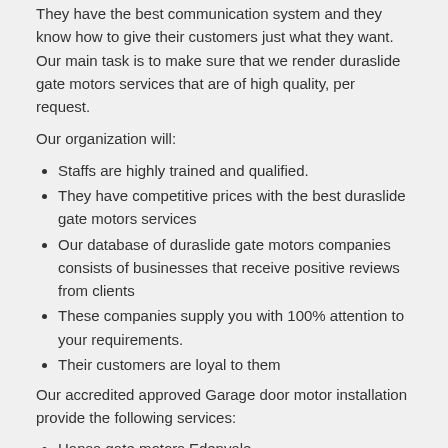They have the best communication system and they know how to give their customers just what they want. Our main task is to make sure that we render duraslide gate motors services that are of high quality, per request.
Our organization will:
Staffs are highly trained and qualified.
They have competitive prices with the best duraslide gate motors services
Our database of duraslide gate motors companies consists of businesses that receive positive reviews from clients
These companies supply you with 100% attention to your requirements.
Their customers are loyal to them
Our accredited approved Garage door motor installation provide the following services:
Hansa gate motors Edenvale
Fix garage doors Edenvale
Gate Motor Services In Edenvale
Roller door repairs Edenvale
Bft gate motor Edenvale
Garage door remote repair Edenvale
Century gate motors Edenvale
Garage doors prices Edenvale
Security gate systems Edenvale